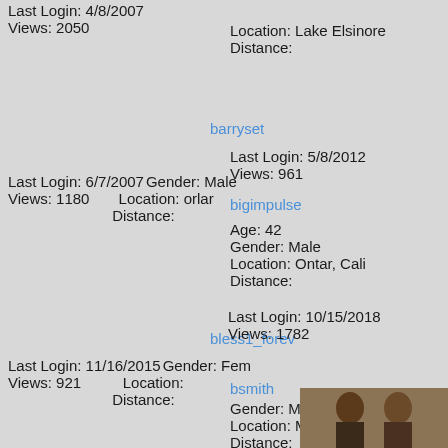Last Login: 4/8/2007
Views: 2050
Location: Lake Elsinore
Distance:
barryset
Last Login: 5/8/2012
Views: 961
Last Login: 6/7/2007 Gender: Male
Views: 1180
Location: orlar
Distance:
bigimpulse
Age: 42
Gender: Male
Location: Ontario, Cali
Distance:
bless1_forev
Last Login: 10/15/2018
Views: 1782
Last Login: 11/16/2015 Gender: Fem
Views: 921
Location:
Distance:
bsmith
Gender: Male
Location: Mentor, Ohio
Distance:
[Figure (photo): Photo of two people]